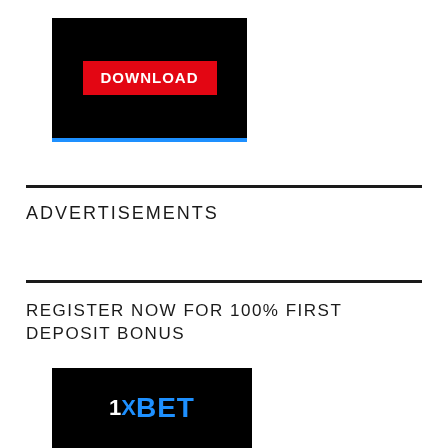[Figure (other): Black banner with red DOWNLOAD button]
ADVERTISEMENTS
[Figure (logo): 1XBET logo on black background with blue accent]
REGISTER NOW FOR 100% FIRST DEPOSIT BONUS